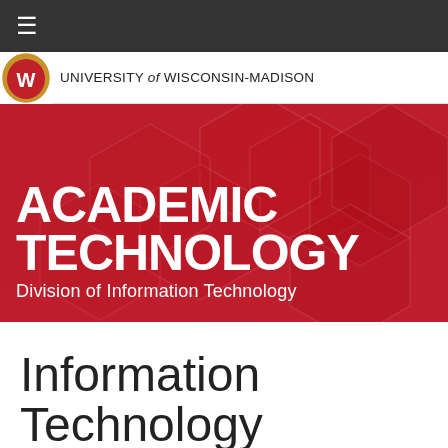≡
[Figure (logo): University of Wisconsin-Madison crest/shield logo with red W and UW wordmark reading UNIVERSITY of WISCONSIN-MADISON]
[Figure (infographic): Red banner with hexagon geometric pattern background. Large white bold text reads ACADEMIC TECHNOLOGY. Below in lighter weight: Division of Information Technology]
Information Technology Academy